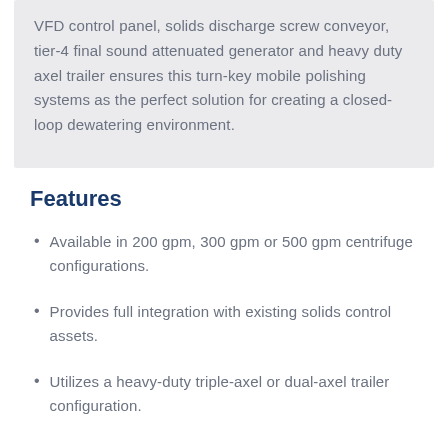VFD control panel, solids discharge screw conveyor, tier-4 final sound attenuated generator and heavy duty axel trailer ensures this turn-key mobile polishing systems as the perfect solution for creating a closed-loop dewatering environment.
Features
Available in 200 gpm, 300 gpm or 500 gpm centrifuge configurations.
Provides full integration with existing solids control assets.
Utilizes a heavy-duty triple-axel or dual-axel trailer configuration.